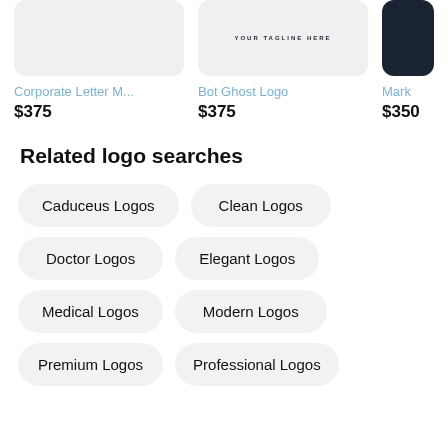[Figure (logo): Corporate Letter M logo thumbnail - light grey rounded rectangle]
Corporate Letter M...
$375
[Figure (logo): Bot Ghost Logo thumbnail - light grey rounded rectangle with tagline text]
Bot Ghost Logo
$375
[Figure (logo): Mark logo thumbnail - dark navy rounded rectangle, partially cropped]
Mark
$350
Related logo searches
Caduceus Logos
Clean Logos
Doctor Logos
Elegant Logos
Medical Logos
Modern Logos
Premium Logos
Professional Logos